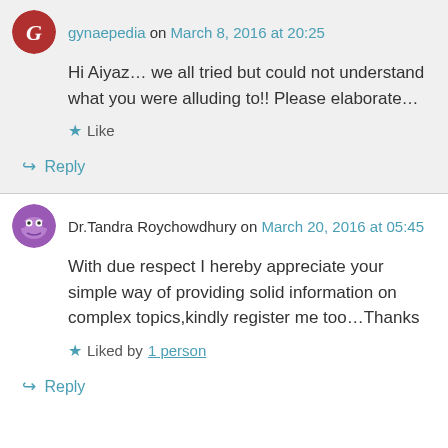gynaepedia on March 8, 2016 at 20:25
Hi Aiyaz… we all tried but could not understand what you were alluding to!! Please elaborate…
Like
Reply
Dr.Tandra Roychowdhury on March 20, 2016 at 05:45
With due respect I hereby appreciate your simple way of providing solid information on complex topics,kindly register me too…Thanks
Liked by 1 person
Reply